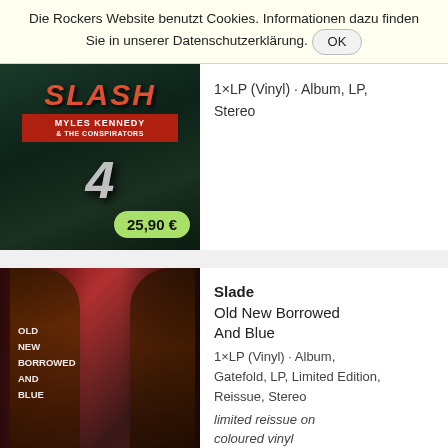Die Rockers Website benutzt Cookies. Informationen dazu finden Sie in unserer Datenschutzerklärung. OK
[Figure (photo): Album cover of Slash featuring Myles Kennedy & The Conspirators - '4', dark green background with red stylized SLASH text and large '4' numeral. Price badge shows 25,90 €]
1×LP (Vinyl) · Album, LP, Stereo
[Figure (photo): Album cover of Slade - Old New Borrowed And Blue, showing band members with long hair against red background with album title text on left side]
Slade
Old New Borrowed And Blue
1×LP (Vinyl) · Album, Gatefold, LP, Limited Edition, Reissue, Stereo
limited reissue on coloured vinyl